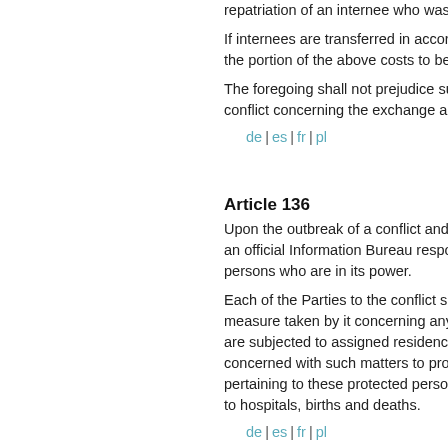repatriation of an internee who was interned...
If internees are transferred in accordance with... the portion of the above costs to be borne b...
The foregoing shall not prejudice such spec... conflict concerning the exchange and repat...
de | es | fr | pl
Informatio...
Article 136
Upon the outbreak of a conflict and in all ca... an official Information Bureau responsible f... persons who are in its power.
Each of the Parties to the conflict shall, with... measure taken by it concerning any protect... are subjected to assigned residence or who... concerned with such matters to provide the... pertaining to these protected persons, as, f... to hospitals, births and deaths.
de | es | fr | pl
Article 137
Each national Bureau shall immediately for... means to the Powers of whom the aforesai... resided, through the intermediary of the Pro... for in Article 149. The Bureaux shall also ro...